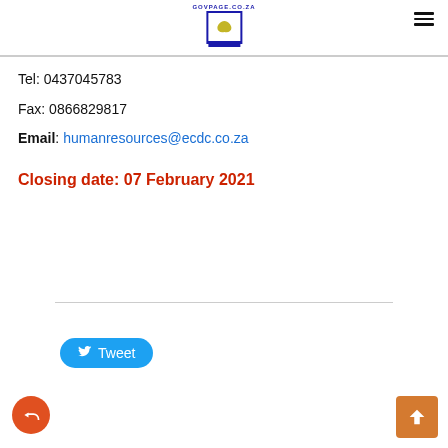[Figure (logo): GOVPAGE.CO.ZA logo with a South Africa map leaf icon in a blue monitor/screen frame]
Tel: 0437045783
Fax: 0866829817
Email: humanresources@ecdc.co.za
Closing date: 07 February 2021
[Figure (other): Tweet button in blue with Twitter bird icon]
[Figure (other): Back/share button (orange circle with reply arrow) and scroll-to-top button (brown square with up arrow)]